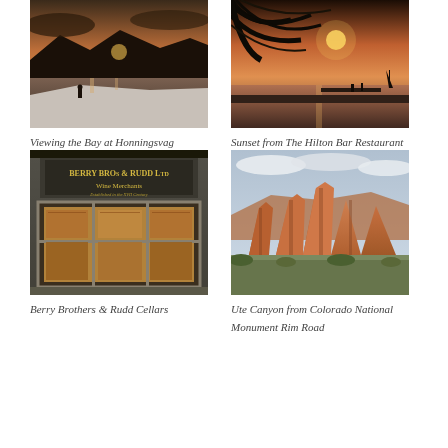[Figure (photo): Person silhouetted on snowy/icy shore viewing a bay at sunset with mountains in background at Honningsvag]
Viewing the Bay at Honningsvag
[Figure (photo): Tropical sunset over ocean viewed through palm tree fronds with a dock and sailboat silhouetted at The Hilton Bar Restaurant]
Sunset from The Hilton Bar Restaurant
[Figure (photo): Night exterior of Berry Bros & Rudd wine merchants shop with illuminated window display showing wine cases]
Berry Brothers & Rudd Cellars
[Figure (photo): Red rock canyon formations under cloudy sky at Ute Canyon from Colorado National Monument Rim Road]
Ute Canyon from Colorado National Monument Rim Road